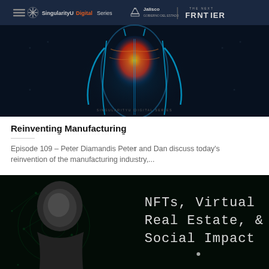[Figure (screenshot): SingularityU Digital Series x Jalisco 'The Next Frontier' branded header image showing a glowing human torso with blue and orange energy visualization on dark background]
Reinventing Manufacturing
Episode 109 – Peter Diamandis Peter and Dan discuss today's reinvention of the manufacturing industry,...
[Figure (screenshot): Dark thumbnail image showing a person's face on the left and text on the right reading 'NFTs, Virtual Real Estate, & Social Impact' on a dark background with circuit-like patterns]